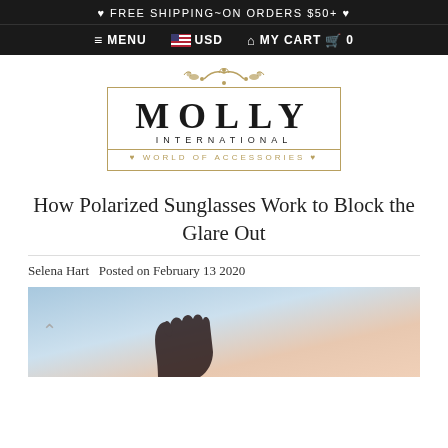♥ FREE SHIPPING~ON ORDERS $50+ ♥
≡ MENU   🇺🇸 USD   🏠 MY CART 🛒 0
[Figure (logo): Molly International World of Accessories logo with golden floral decoration and bordered box]
How Polarized Sunglasses Work to Block the Glare Out
Selena Hart  Posted on February 13 2020
[Figure (photo): A hand reaching up against a pastel sky background]